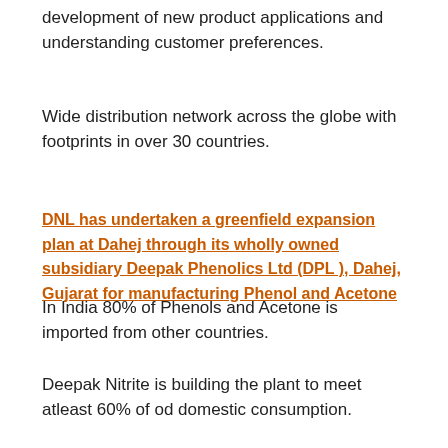development of new product applications and understanding customer preferences.
Wide distribution network across the globe with footprints in over 30 countries.
DNL has undertaken a greenfield expansion plan at Dahej through its wholly owned subsidiary Deepak Phenolics Ltd (DPL ), Dahej, Gujarat for manufacturing Phenol and Acetone
In India 80% of Phenols and Acetone is imported from other countries.
Deepak Nitrite is building the plant to meet atleast 60% of od domestic consumption.